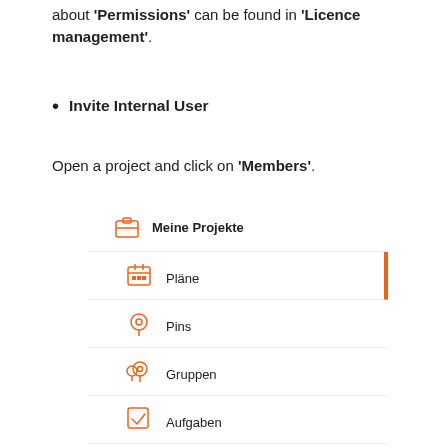about 'Permissions' can be found in 'Licence management'.
Invite Internal User
Open a project and click on 'Members'.
[Figure (screenshot): A navigation menu screenshot showing a project sidebar with items: Meine Projekte (with briefcase icon), and sub-items Pläne (calendar icon, highlighted with orange bar), Pins (location pin icon), Gruppen (group pin icon), Aufgaben (checkbox icon), Medien (pencil icon). Items separated by horizontal lines.]